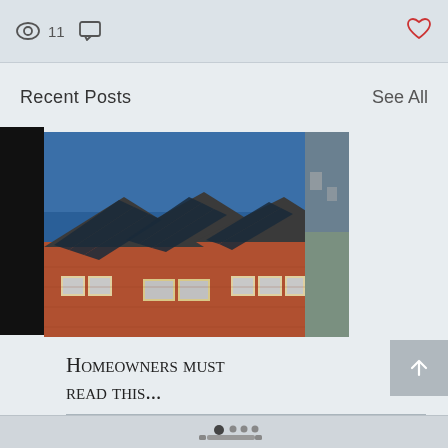👁 11  💬  ❤
Recent Posts
See All
[Figure (photo): Row of brick houses with solar panels on their roofs under a clear blue sky]
Homeowners must read this...
👁 29  💬 0  ❤